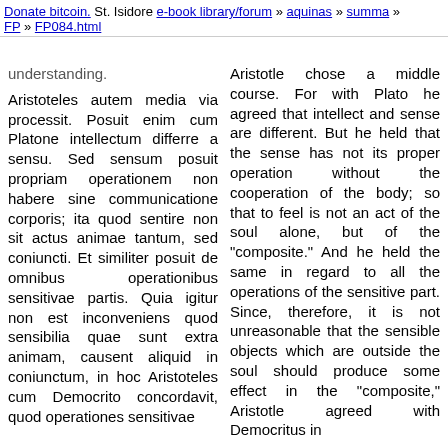Donate bitcoin. St. Isidore e-book library/forum » aquinas » summa » FP » FP084.html
understanding.
Aristoteles autem media via processit. Posuit enim cum Platone intellectum differre a sensu. Sed sensum posuit propriam operationem non habere sine communicatione corporis; ita quod sentire non sit actus animae tantum, sed coniuncti. Et similiter posuit de omnibus operationibus sensitivae partis. Quia igitur non est inconveniens quod sensibilia quae sunt extra animam, causent aliquid in coniunctum, in hoc Aristoteles cum Democrito concordavit, quod operationes sensitivae
Aristotle chose a middle course. For with Plato he agreed that intellect and sense are different. But he held that the sense has not its proper operation without the cooperation of the body; so that to feel is not an act of the soul alone, but of the "composite." And he held the same in regard to all the operations of the sensitive part. Since, therefore, it is not unreasonable that the sensible objects which are outside the soul should produce some effect in the "composite," Aristotle agreed with Democritus in